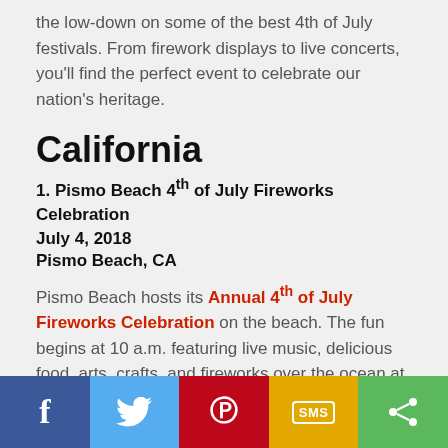the low-down on some of the best 4th of July festivals. From firework displays to live concerts, you'll find the perfect event to celebrate our nation's heritage.
California
1. Pismo Beach 4th of July Fireworks Celebration
July 4, 2018
Pismo Beach, CA
Pismo Beach hosts its Annual 4th of July Fireworks Celebration on the beach. The fun begins at 10 a.m. featuring live music, delicious food, arts, crafts, and fireworks over the ocean at 9 p.m.
Nearby Resorts